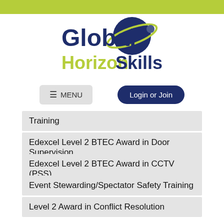[Figure (logo): Global Horizon Skills logo with planet/orbit graphic]
≡ MENU
Login or Join
Training
Edexcel Level 2 BTEC Award in Door Supervision
Edexcel Level 2 BTEC Award in CCTV (PSS)
Event Stewarding/Spectator Safety Training
Level 2 Award in Conflict Resolution
Physical Intervention Skills
SIA Licensing